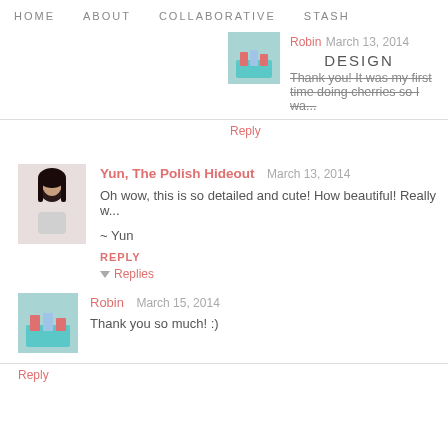HOME   ABOUT   COLLABORATIVE   STASH
Robin  March 13, 2014
DESIGN
Thank you! It was my first time doing cherries so I wa...
Reply
Yun, The Polish Hideout  March 13, 2014
Oh wow, this is so detailed and cute! How beautiful! Really w...
~ Yun
REPLY
▼ Replies
Robin  March 15, 2014
Thank you so much! :)
Reply